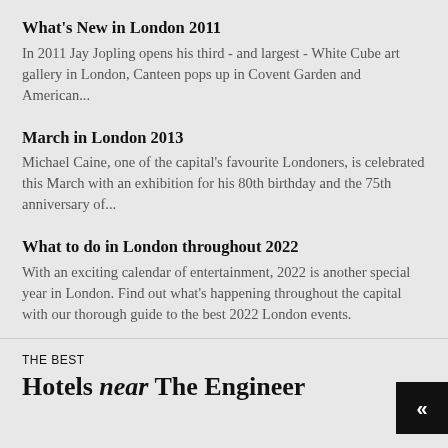What's New in London 2011
In 2011 Jay Jopling opens his third - and largest - White Cube art gallery in London, Canteen pops up in Covent Garden and American...
March in London 2013
Michael Caine, one of the capital's favourite Londoners, is celebrated this March with an exhibition for his 80th birthday and the 75th anniversary of...
What to do in London throughout 2022
With an exciting calendar of entertainment, 2022 is another special year in London. Find out what's happening throughout the capital with our thorough guide to the best 2022 London events.
THE BEST
Hotels near The Engineer